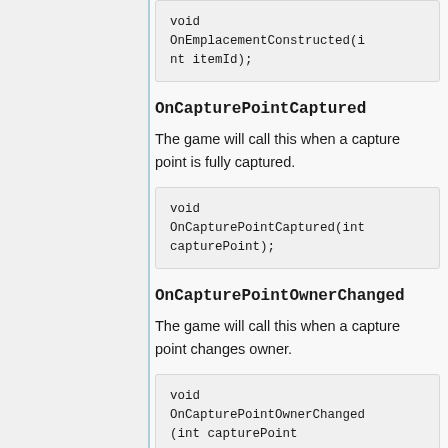void OnEmplacementConstructed(int itemId);
OnCapturePointCaptured
The game will call this when a capture point is fully captured.
void OnCapturePointCaptured(int capturePoint);
OnCapturePointOwnerChanged
The game will call this when a capture point changes owner.
void OnCapturePointOwnerChanged(int capturePoint